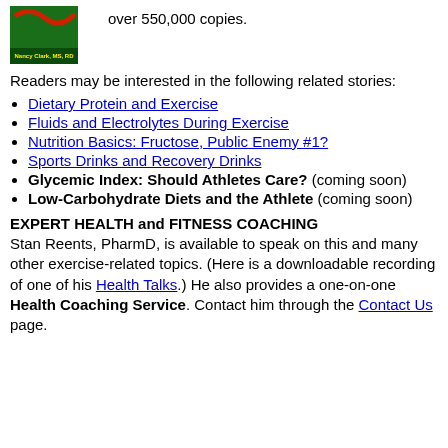[Figure (photo): Book cover image showing Nancy Clark, MS, RD with a green background and red design element]
over 550,000 copies.
Readers may be interested in the following related stories:
Dietary Protein and Exercise
Fluids and Electrolytes During Exercise
Nutrition Basics: Fructose, Public Enemy #1?
Sports Drinks and Recovery Drinks
Glycemic Index: Should Athletes Care? (coming soon)
Low-Carbohydrate Diets and the Athlete (coming soon)
EXPERT HEALTH and FITNESS COACHING
Stan Reents, PharmD, is available to speak on this and many other exercise-related topics. (Here is a downloadable recording of one of his Health Talks.) He also provides a one-on-one Health Coaching Service. Contact him through the Contact Us page.